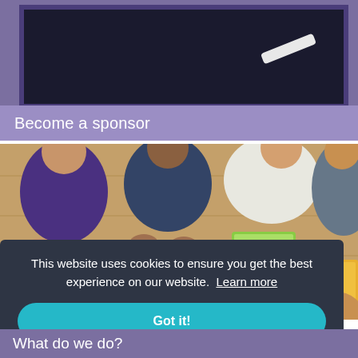[Figure (photo): Top-down view of a blackboard with a piece of chalk resting on it, with purple border framing]
Become a sponsor
[Figure (photo): Overhead view of people sitting around a wooden table, using phones, tablets, laptops and books including titles visible like 'History']
This website uses cookies to ensure you get the best experience on our website. Learn more
Got it!
What do we do?